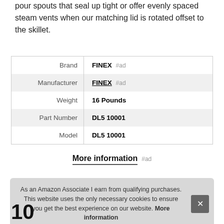pour spouts that seal up tight or offer evenly spaced steam vents when our matching lid is rotated offset to the skillet.
| Brand | FINEX #ad |
| Manufacturer | FINEX #ad |
| Weight | 16 Pounds |
| Part Number | DL5 10001 |
| Model | DL5 10001 |
More information #ad
As an Amazon Associate I earn from qualifying purchases. This website uses the only necessary cookies to ensure you get the best experience on our website. More information
10